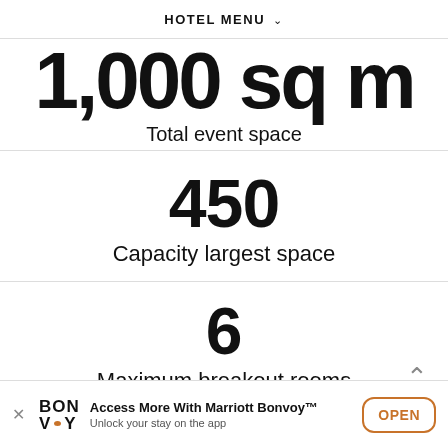HOTEL MENU ∨
1,000 sq m
Total event space
450
Capacity largest space
6
Maximum breakout rooms
Access More With Marriott Bonvoy™ Unlock your stay on the app